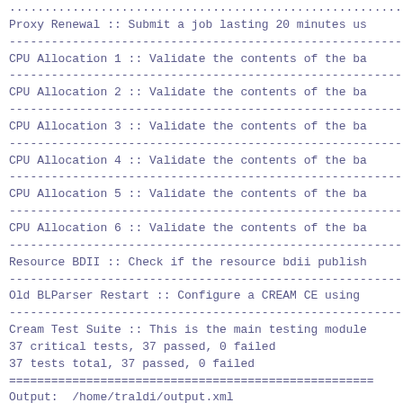............................................................
Proxy Renewal :: Submit a job lasting 20 minutes us
------------------------------------------------------------
CPU Allocation 1 :: Validate the contents of the ba
------------------------------------------------------------
CPU Allocation 2 :: Validate the contents of the ba
------------------------------------------------------------
CPU Allocation 3 :: Validate the contents of the ba
------------------------------------------------------------
CPU Allocation 4 :: Validate the contents of the ba
------------------------------------------------------------
CPU Allocation 5 :: Validate the contents of the ba
------------------------------------------------------------
CPU Allocation 6 :: Validate the contents of the ba
------------------------------------------------------------
Resource BDII :: Check if the resource bdii publish
------------------------------------------------------------
Old BLParser Restart :: Configure a CREAM CE using
------------------------------------------------------------
Cream Test Suite :: This is the main testing module
37 critical tests, 37 passed, 0 failed
37 tests total, 37 passed, 0 failed
====================================================
Output:  /home/traldi/output.xml